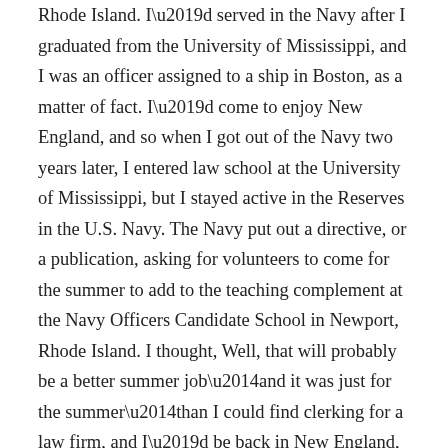Rhode Island. I'd served in the Navy after I graduated from the University of Mississippi, and I was an officer assigned to a ship in Boston, as a matter of fact. I'd come to enjoy New England, and so when I got out of the Navy two years later, I entered law school at the University of Mississippi, but I stayed active in the Reserves in the U.S. Navy. The Navy put out a directive, or a publication, asking for volunteers to come for the summer to add to the teaching complement at the Navy Officers Candidate School in Newport, Rhode Island. I thought, Well, that will probably be a better summer job—and it was just for the summer—than I could find clerking for a law firm, and I'd be back in New England, and it does have a ring to it, “summering in Newport.” So I applied and I was selected to be a summer instructor.
I went up there and one of my friends from the university called me in Newport. She and a couple of her classmates